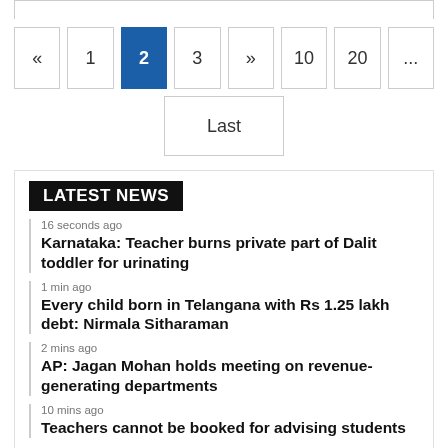« 1 2 3 » 10 20 ...
Last
LATEST NEWS
16 seconds ago
Karnataka: Teacher burns private part of Dalit toddler for urinating
1 min ago
Every child born in Telangana with Rs 1.25 lakh debt: Nirmala Sitharaman
2 mins ago
AP: Jagan Mohan holds meeting on revenue-generating departments
10 mins ago
Teachers cannot be booked for advising students